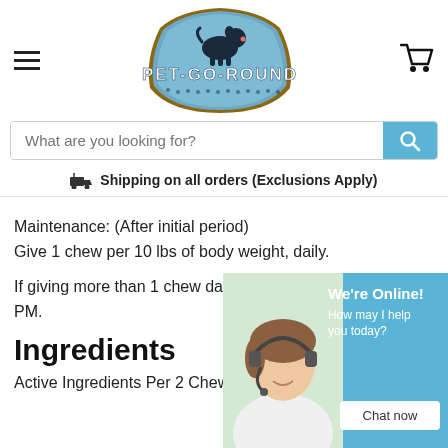[Figure (logo): Pet-Go-Round logo: blue arched badge with dog silhouette and brand name]
[Figure (illustration): Shopping cart icon (top right)]
What are you looking for?
Shipping on all orders (Exclusions Apply)
Maintenance: (After initial period)
Give 1 chew per 10 lbs of body weight, daily.
If giving more than 1 chew daily, divide between AM and PM.
Ingredients
Active Ingredients Per 2 Chews:
[Figure (photo): Customer service agent (woman with headset) chat widget with 'We're Online! How may I help you today?' and 'Chat now' button]